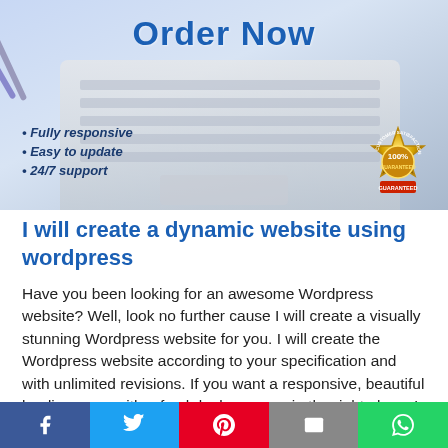[Figure (illustration): Promotional banner showing a laptop keyboard background with 'Order Now' title, bullet points listing 'Fully responsive', 'Easy to update', '24/7 support', and a 100% Customer Satisfaction Guaranteed gold badge in the bottom right]
I will create a dynamic website using wordpress
Have you been looking for an awesome Wordpress website? Well, look no further cause I will create a visually stunning Wordpress website for you. I will create the Wordpress website according to your specification and with unlimited revisions. If you want a responsive, beautiful landing page with a fresh look, you are in the right place. I focus on listening to my clients, focus on what they need. I can offer you Wordpress plugin and Wordpress